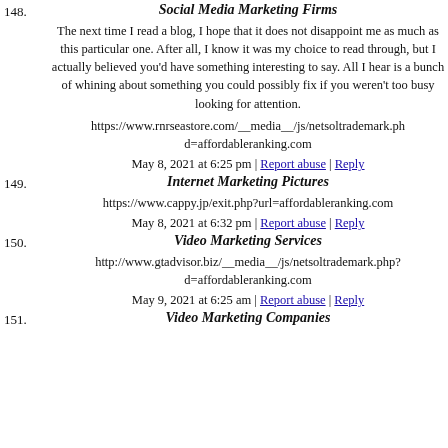148. Social Media Marketing Firms
The next time I read a blog, I hope that it does not disappoint me as much as this particular one. After all, I know it was my choice to read through, but I actually believed you'd have something interesting to say. All I hear is a bunch of whining about something you could possibly fix if you weren't too busy looking for attention.
https://www.rnrseastore.com/__media__/js/netsoltrademark.php?d=affordableranking.com
May 8, 2021 at 6:25 pm | Report abuse | Reply
149. Internet Marketing Pictures
https://www.cappy.jp/exit.php?url=affordableranking.com
May 8, 2021 at 6:32 pm | Report abuse | Reply
150. Video Marketing Services
http://www.gtadvisor.biz/__media__/js/netsoltrademark.php?d=affordableranking.com
May 9, 2021 at 6:25 am | Report abuse | Reply
151. Video Marketing Companies